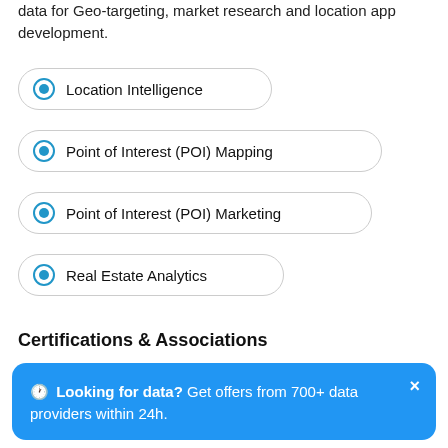data for Geo-targeting, market research and location app development.
Location Intelligence
Point of Interest (POI) Mapping
Point of Interest (POI) Marketing
Real Estate Analytics
Certifications & Associations
🕐 Looking for data? Get offers from 700+ data providers within 24h. Post Your Data RFQ →